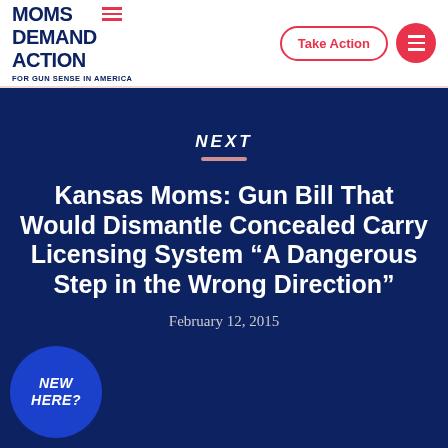[Figure (logo): Moms Demand Action for Gun Sense in America logo with red horizontal lines accent]
Take Action
Kansas Moms: Gun Bill That Would Dismantle Concealed Carry Licensing System “A Dangerous Step in the Wrong Direction”
February 12, 2015
NEXT
NEW HERE?